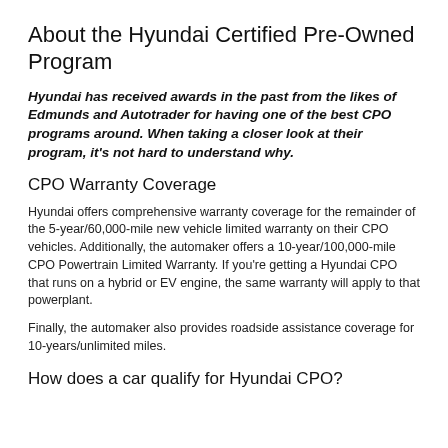About the Hyundai Certified Pre-Owned Program
Hyundai has received awards in the past from the likes of Edmunds and Autotrader for having one of the best CPO programs around. When taking a closer look at their program, it's not hard to understand why.
CPO Warranty Coverage
Hyundai offers comprehensive warranty coverage for the remainder of the 5-year/60,000-mile new vehicle limited warranty on their CPO vehicles. Additionally, the automaker offers a 10-year/100,000-mile CPO Powertrain Limited Warranty. If you're getting a Hyundai CPO that runs on a hybrid or EV engine, the same warranty will apply to that powerplant.
Finally, the automaker also provides roadside assistance coverage for 10-years/unlimited miles.
How does a car qualify for Hyundai CPO?